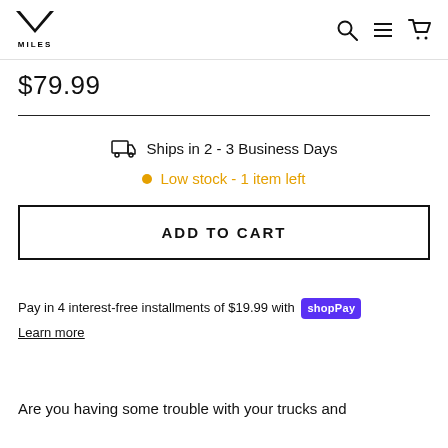MILES
$79.99
Ships in 2 - 3 Business Days
Low stock - 1 item left
ADD TO CART
Pay in 4 interest-free installments of $19.99 with Shop Pay
Learn more
Are you having some trouble with your trucks and